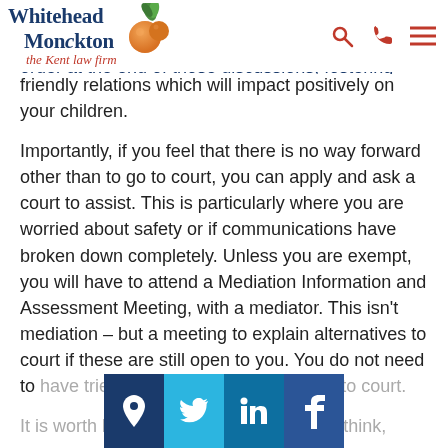Whitehead Monckton — the Kent law firm
days of discussions, respectfully without going to court. Whilst in discussions, you can get a court order at the end of those discussions, fostering communication and friendly relations which will impact positively on your children.
Importantly, if you feel that there is no way forward other than to go to court, you can apply and ask a court to assist. This is particularly where you are worried about safety or if communications have broken down completely. Unless you are exempt, you will have to attend a Mediation Information and Assessment Meeting, with a mediator. This isn't mediation – but a meeting to explain alternatives to court if these are still open to you. You do not need to have tried mediation in order to apply to court.
It is worth being aware that courts might think,